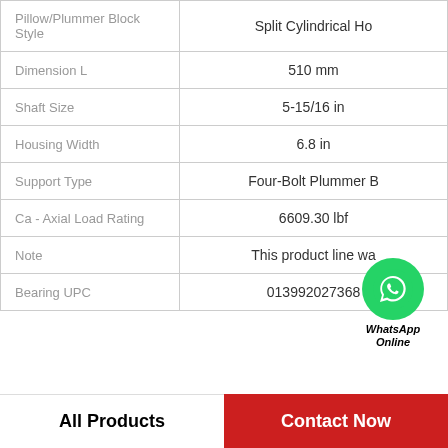| Property | Value |
| --- | --- |
| Pillow/Plummer Block Style | Split Cylindrical Ho |
| Dimension L | 510 mm |
| Shaft Size | 5-15/16 in |
| Housing Width | 6.8 in |
| Support Type | Four-Bolt Plummer B... |
| Ca - Axial Load Rating | 6609.30 lbf |
| Note | This product line wa |
| Bearing UPC | 013992027368 |
All Products   Contact Now